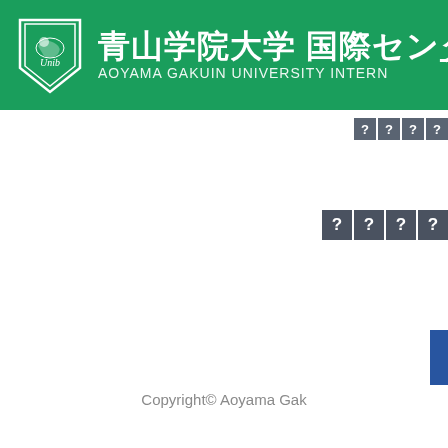[Figure (logo): Aoyama Gakuin University International Center logo with shield emblem, Japanese text '青山学院大学 国際センター' and English text 'AOYAMA GAKUIN UNIVERSITY INTERN...' on a green banner header]
[Figure (screenshot): Small navigation icon boxes with question marks at top right of page]
[Figure (screenshot): Larger navigation icon boxes with question marks in middle right area]
[Figure (screenshot): Blue vertical element on right side]
Copyright© Aoyama Gak